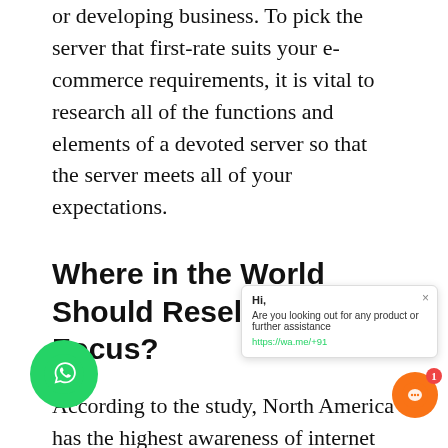or developing business. To pick the server that first-rate suits your e-commerce requirements, it is vital to research all of the functions and elements of a devoted server so that the server meets all of your expectations.
Where in the World Should Resellers Focus?
According to the study, North America has the highest awareness of internet web hosting demand in the world. While that might also now not be surprising, it exhibits a terrific deal of probability for reseller dedicated hosting offerings in different markets around the 35 plus countries. For example, a wide variety of European investment companies have started out backing internet web hosting